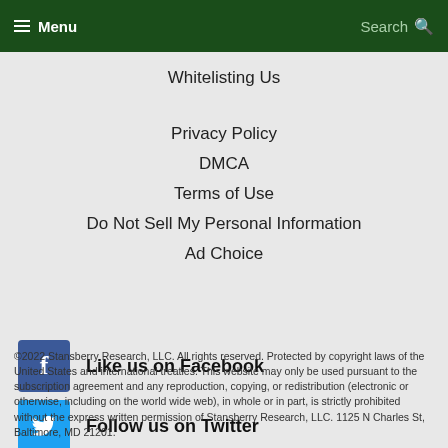Menu  Search
Whitelisting Us
Privacy Policy
DMCA
Terms of Use
Do Not Sell My Personal Information
Ad Choice
Like us on Facebook
Follow us on Twitter
©2022 Stansberry Research, LLC. All rights reserved. Protected by copyright laws of the United States and international treaties. This website may only be used pursuant to the subscription agreement and any reproduction, copying, or redistribution (electronic or otherwise, including on the world wide web), in whole or in part, is strictly prohibited without the express written permission of Stansberry Research, LLC. 1125 N Charles St, Baltimore, MD 21201.